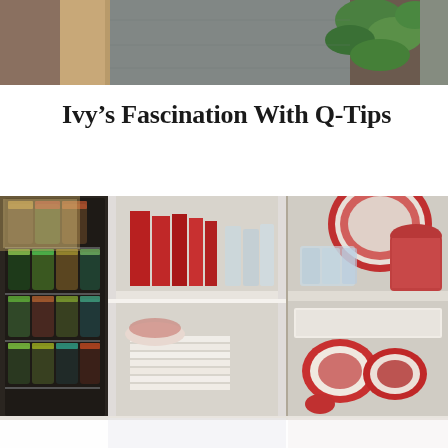[Figure (photo): Top portion of a photo showing a person partially visible on the left and green plant leaves against a wooden background on the right]
Ivy’s Fascination With Q-Tips
[Figure (photo): Interior photo of kitchen shelving/pantry showing a spice rack with multiple spice jars on the left, white cabinet shelves in the center with red glassware and stacked white plates, and another shelf section on the right with red and white dishes, crystal glasses, and decorative plates. Bottom portion shows a white countertop.]